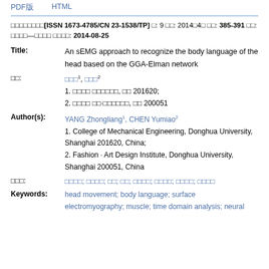PDF版  HTML
□□□□□□□□[ISSN 1673-4785/CN 23-1538/TP] □: 9 □□: 2014□4□ □□: 385-391 □□: □□□□—□□□□ □□□□: 2014-08-25
Title: An sEMG approach to recognize the body language of the head based on the GGA-Elman network
□□: □□□1, □□□2
1. □□□□ □□□□□□, □□ 201620;
2. □□□□ □□·□□□□□□, □□ 200051
Author(s): YANG Zhongliang1, CHEN Yumiao2
1. College of Mechanical Engineering, Donghua University, Shanghai 201620, China;
2. Fashion · Art Design Institute, Donghua University, Shanghai 200051, China
□□□: □□□□; □□□□; □□; □□; □□□□; □□□□; □□□□; □□□□
Keywords: head movement; body language; surface electromyography; muscle; time domain analysis; neural